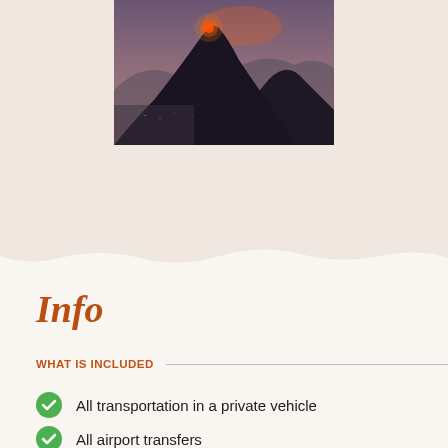[Figure (photo): A dramatic mountain landscape at dusk/sunset with a glowing red light at the peak, silhouetted rocky terrain, and a hazy cityscape visible in the valley below.]
Info
WHAT IS INCLUDED
All transportation in a private vehicle
All airport transfers